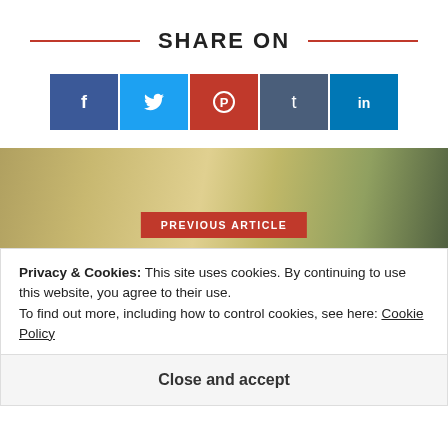SHARE ON
[Figure (infographic): Row of five social media share buttons: Facebook (dark blue, f), Twitter (light blue, bird icon), Pinterest (red, P circle icon), Tumblr (slate blue, t), LinkedIn (blue, in)]
[Figure (photo): Photo of sliced bread/sandwich with PREVIOUS ARTICLE label overlay in red]
Privacy & Cookies: This site uses cookies. By continuing to use this website, you agree to their use.
To find out more, including how to control cookies, see here: Cookie Policy
Close and accept